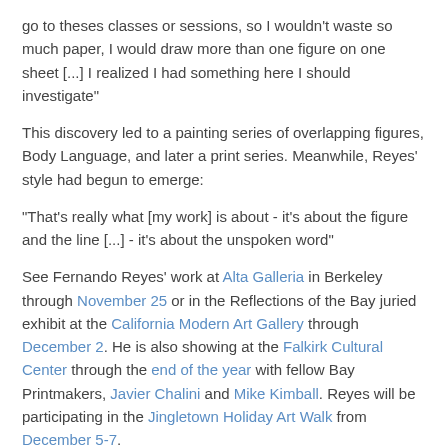go to theses classes or sessions, so I wouldn't waste so much paper, I would draw more than one figure on one sheet [...] I realized I had something here I should investigate"
This discovery led to a painting series of overlapping figures, Body Language, and later a print series. Meanwhile, Reyes' style had begun to emerge:
"That's really what [my work] is about - it's about the figure and the line [...] - it's about the unspoken word"
See Fernando Reyes' work at Alta Galleria in Berkeley through November 25 or in the Reflections of the Bay juried exhibit at the California Modern Art Gallery through December 2. He is also showing at the Falkirk Cultural Center through the end of the year with fellow Bay Printmakers, Javier Chalini and Mike Kimball. Reyes will be participating in the Jingletown Holiday Art Walk from December 5-7.
Greenballoon at 11/11/2008    15 comments: